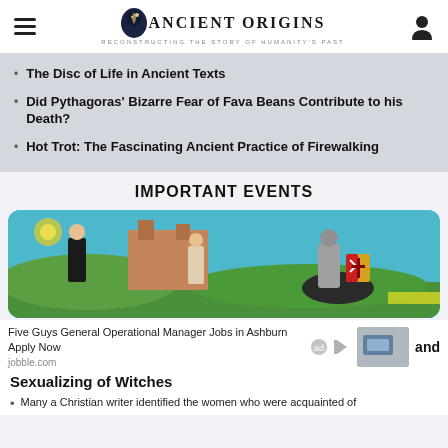Ancient Origins — Reconstructing the story of humanity's past
The Disc of Life in Ancient Texts
Did Pythagoras' Bizarre Fear of Fava Beans Contribute to his Death?
Hot Trot: The Fascinating Ancient Practice of Firewalking
IMPORTANT EVENTS
[Figure (illustration): Colorful medieval-style illustration showing figures on horseback with a knight bearing a cross on shield, against blue sky and green hills]
Five Guys General Operational Manager Jobs in Ashburn Apply Now
jobble.com
and
Sexualizing of Witches
Many a Christian writer identified the women who were acquainted of